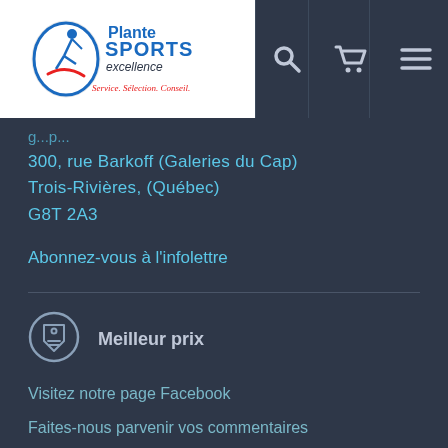[Figure (logo): Plante Sports Excellence logo with tagline 'Service. Sélection. Conseil.']
300, rue Barkoff (Galeries du Cap)
Trois-Rivières, (Québec)
G8T 2A3
Abonnez-vous à l'infolettre
[Figure (illustration): Price tag/badge icon with ticket symbol]
Meilleur prix
Visitez notre page Facebook
Faites-nous parvenir vos commentaires